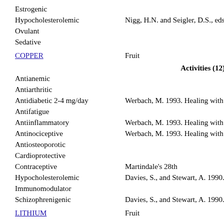Estrogenic
Hypocholesterolemic    Nigg, H.N. and Seigler, D.S., eds. 1992. Ph Agriculture. Plenum Press, New York. 445
Ovulant
Sedative
COPPER    Fruit
Activities (12)
Antianemic
Antiarthritic
Antidiabetic 2-4 mg/day    Werbach, M. 1993. Healing with Food. Ha
Antifatigue
Antiinflammatory    Werbach, M. 1993. Healing with Food. Ha
Antinociceptive    Werbach, M. 1993. Healing with Food. Ha
Antiosteoporotic
Cardioprotective
Contraceptive    Martindale's 28th
Hypocholesterolemic    Davies, S., and Stewart, A. 1990. Nutrition
Immunomodulator
Schizophrenigenic    Davies, S., and Stewart, A. 1990. Nutrition
LITHIUM    Fruit